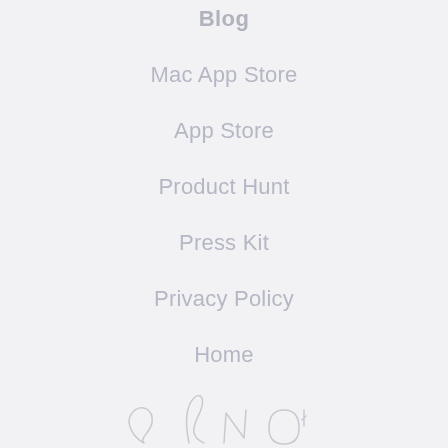Blog
Mac App Store
App Store
Product Hunt
Press Kit
Privacy Policy
Home
[Figure (illustration): Hand-drawn style signature or logo graphic in light gray at the bottom of the page]